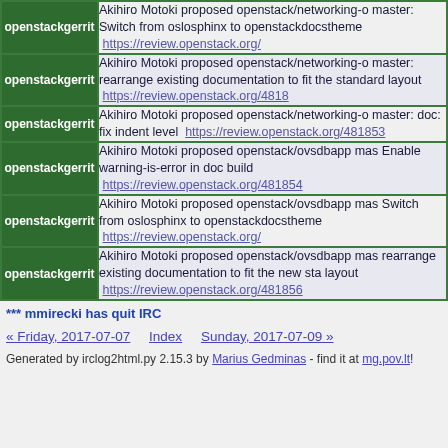| nick | message |
| --- | --- |
| openstackgerrit | Akihiro Motoki proposed openstack/networking-o master: Switch from oslosphinx to openstackdocstheme  https://review.openstack.org/ |
| openstackgerrit | Akihiro Motoki proposed openstack/networking-o master: rearrange existing documentation to fit the standard layout  https://review.openstack.org/4818 |
| openstackgerrit | Akihiro Motoki proposed openstack/networking-o master: doc: fix indent level  https://review.openstack.org/481853 |
| openstackgerrit | Akihiro Motoki proposed openstack/ovsdbapp mas Enable warning-is-error in doc build  https://review.openstack.org/481854 |
| openstackgerrit | Akihiro Motoki proposed openstack/ovsdbapp mas Switch from oslosphinx to openstackdocstheme  https://review.openstack.org/ |
| openstackgerrit | Akihiro Motoki proposed openstack/ovsdbapp mas rearrange existing documentation to fit the new sta layout  https://review.openstack.org/481856 |
*** mmirecki has quit IRC
« Friday, 2017-07-07    Index    Sunday, 2017-07-09 »
Generated by irclog2html.py 2.15.3 by Marius Gedminas - find it at mg.pov.lt!